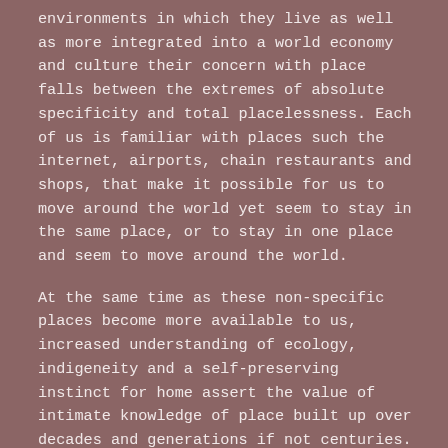environments in which they live as well as more integrated into a world economy and culture their concern with place falls between the extremes of absolute specificity and total placelessness. Each of us is familiar with places such the internet, airports, chain restaurants and shops, that make it possible for us to move around the world yet seem to stay in the same place, or to stay in one place and seem to move around the world.
At the same time as these non-specific places become more available to us, increased understanding of ecology, indigeneity and a self-preserving instinct for home assert the value of intimate knowledge of place built up over decades and generations if not centuries. Yet longevity in a place is not a choice available to a lot of people, whether through migration, dispossession, the diasporas brought about by the events of world history, or personal quests for prosperity, in the